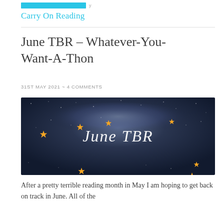Carry On Reading
June TBR – Whatever-You-Want-A-Thon
31ST MAY 2021 ~ 4 COMMENTS
[Figure (illustration): Dark starry night sky banner image with golden stars and white cursive text reading 'June TBR']
After a pretty terrible reading month in May I am hoping to get back on track in June. All of the